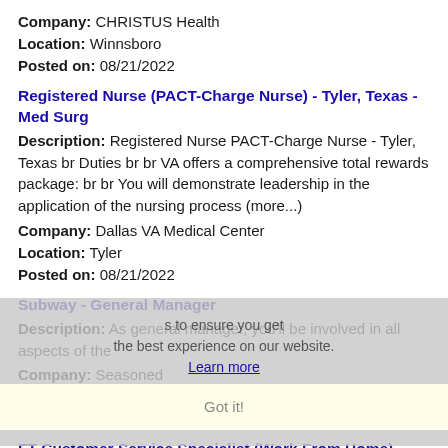Company: CHRISTUS Health
Location: Winnsboro
Posted on: 08/21/2022
Registered Nurse (PACT-Charge Nurse) - Tyler, Texas - Med Surg
Description: Registered Nurse PACT-Charge Nurse - Tyler, Texas br Duties br br VA offers a comprehensive total rewards package: br br You will demonstrate leadership in the application of the nursing process (more...)
Company: Dallas VA Medical Center
Location: Tyler
Posted on: 08/21/2022
Subway - General Manager
Description: As general manager, you'll be involved in all aspects of the
Company: Seasoned
Location: Eustace
Posted on: 08/21/2022
FT Customer Service Specialist (Work From Home)
Description: Call Center / Fully Remote - Anywhere in U.S. / Competitive salary / Medical, Dental and Vision / PTO